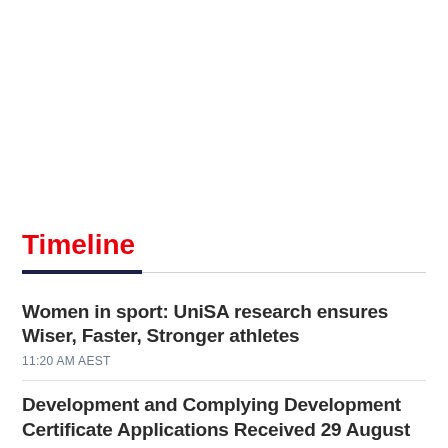Timeline
Women in sport: UniSA research ensures Wiser, Faster, Stronger athletes
11:20 AM AEST
Development and Complying Development Certificate Applications Received 29 August